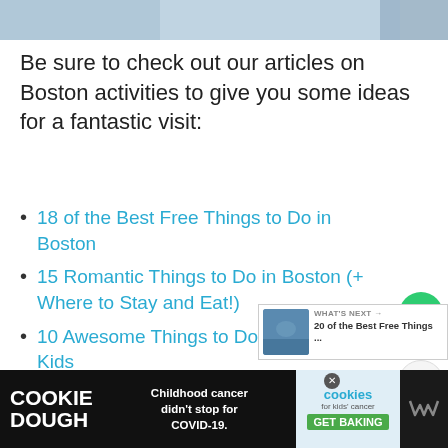[Figure (photo): Partial photo of a person at the top of the page, gray/blue background]
Be sure to check out our articles on Boston activities to give you some ideas for a fantastic visit:
18 of the Best Free Things to Do in Boston
15 Romantic Things to Do in Boston (+ Where to Stay and Eat!)
10 Awesome Things to Do in Boston with Kids
10 Best Boston Vacation Rentals: AirBnb, VRBO + More
The Ultimate Guide to St Pat…
[Figure (other): Green circular heart/like button with count 6 and share button below]
[Figure (other): What's Next panel: 20 of the Best Free Things ...]
[Figure (other): Cookie Dough advertisement banner: Childhood cancer didn't stop for COVID-19. Cookies for kids' cancer GET BAKING]